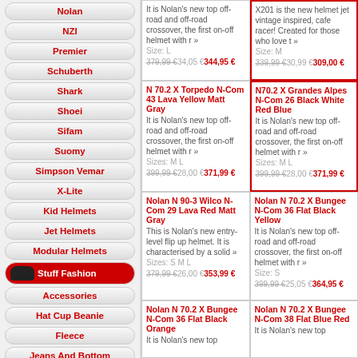Nolan
NZI
Premier
Schuberth
Shark
Shoei
Sifam
Suomy
Simpson Vemar
X-Lite
Kid Helmets
Jet Helmets
Modular Helmets
Stuff Fashion
Accessories
Hat Cup Beanie
Fleece
Jeans And Bottom
It is Nolan's new top off-road and off-road crossover, the first on-off helmet with r » Size: L 379,99 € 34,05 € 344,95 €
X201 is the new helmet jet vintage inspired, cafe racer! Created for those who love t » Size: M 339,99 € 30,99 € 309,00 €
N 70.2 X Torpedo N-Com 43 Lava Yellow Matt Gray — It is Nolan's new top off-road and off-road crossover, the first on-off helmet with r » Sizes: M L 399,99 € 28,00 € 371,99 €
N70.2 X Grandes Alpes N-Com 26 Black White Red Blue — It is Nolan's new top off-road and off-road crossover, the first on-off helmet with r » Sizes: M L 399,99 € 28,00 € 371,99 €
Nolan N 90-3 Wilco N-Com 29 Lava Red Matt Gray — This is Nolan's new entry-level flip up helmet. It is characterised by a solid » Sizes: S M L 379,99 € 26,00 € 353,99 €
Nolan N 70.2 X Bungee N-Com 36 Flat Black Yellow — It is Nolan's new top off-road and off-road crossover, the first on-off helmet with r » Size: S 399,99 € 25,05 € 364,95 €
Nolan N 70.2 X Bungee N-Com 36 Flat Black Orange — It is Nolan's new top
Nolan N 70.2 X Bungee N-Com 38 Flat Blue Red — It is Nolan's new top